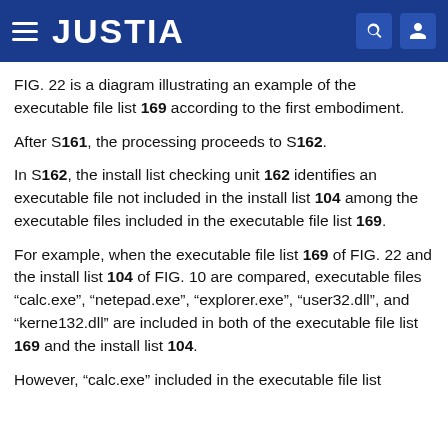JUSTIA
FIG. 22 is a diagram illustrating an example of the executable file list 169 according to the first embodiment.
After S161, the processing proceeds to S162.
In S162, the install list checking unit 162 identifies an executable file not included in the install list 104 among the executable files included in the executable file list 169.
For example, when the executable file list 169 of FIG. 22 and the install list 104 of FIG. 10 are compared, executable files “calc.exe”, “netepad.exe”, “explorer.exe”, “user32.dll”, and “kerne132.dll” are included in both of the executable file list 169 and the install list 104.
However, “calc.exe” included in the executable file list